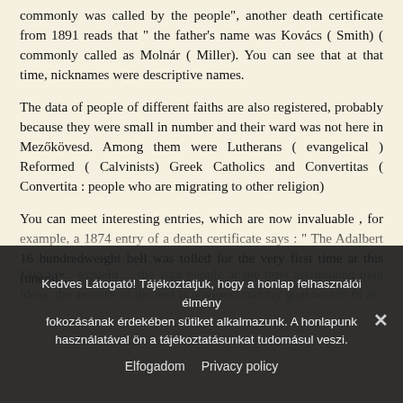commonly was called by the people", another death certificate from 1891 reads that " the father's name was Kovács ( Smith) ( commonly called as Molnár ( Miller). You can see that at that time, nicknames were descriptive names.
The data of people of different faiths are also registered, probably because they were small in number and their ward was not here in Mezőkövesd. Among them were Lutherans ( evangelical ) Reformed ( Calvinists) Greek Catholics and Convertitas ( Convertita : people who are migrating to other religion)
You can meet interesting entries, which are now invaluable , for example, a 1874 entry of a death certificate says : " The Adalbert 16 hundredweight bell was tolled for the very first time at this funeral".
Due to ... explain ... the way people ... the time ... assimilated than ideas, the assence of the text is obvious, and my goal was to fit as
Kedves Látogató! Tájékoztatjuk, hogy a honlap felhasználói élmény fokozásának érdekében sütiket alkalmazunk. A honlapunk használatával ön a tájékoztatásunkat tudomásul veszi.
Elfogadom   Privacy policy